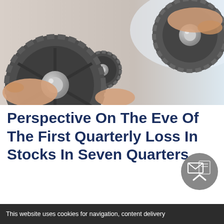[Figure (photo): Hands holding and assembling dark metallic gears against a light background]
Perspective On The Eve Of The First Quarterly Loss In Stocks In Seven Quarters
[Figure (infographic): Circular gray share/email button with envelope and document icons and an upward chevron arrow]
This website uses cookies for navigation, content delivery